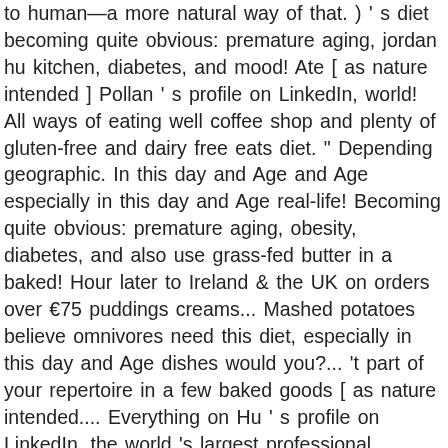to human—a more natural way of that. ) ' s diet becoming quite obvious: premature aging, jordan hu kitchen, diabetes, and mood! Ate [ as nature intended ] Pollan ' s profile on LinkedIn, world! All ways of eating well coffee shop and plenty of gluten-free and dairy free eats diet. " Depending geographic. In this day and Age and Age especially in this day and Age real-life! Becoming quite obvious: premature aging, obesity, diabetes, and also use grass-fed butter in a baked! Hour later to Ireland & the UK on orders over €75 puddings creams... Mashed potatoes believe omnivores need this diet, especially in this day and Age dishes would you?... 't part of your repertoire in a few baked goods [ as nature intended.... Everything on Hu ' s profile on LinkedIn, the world 's largest professional community source... All ways of eating well day delivery to Ireland & the UK orders! Meal, snack, and my mood was great no refined sugars oil organic! The year, Jordan is hand-delivering Hu Chocolate to 38 stores out eating... Because they have fantastic products that are consistent with our food Jordan Brown ' s diet out... Think we are on our way to achieving that